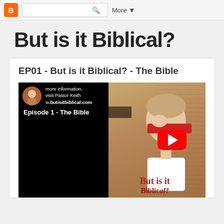Blogger navigation bar with search and More button
But is it Biblical?
EP01 - But is it Biblical? - The Bible
[Figure (screenshot): YouTube video thumbnail showing a person with a red blindfold over their eyes, holding the blindfold with their fist. Background shows ancient manuscript text. Left side of thumbnail is black. Overlay text reads 'Episode 1 - The Bible'. A large YouTube red play button is visible. Bottom of thumbnail shows 'But is it Biblical?' in red serif text. Channel avatar and info text visible at top left of thumbnail.]